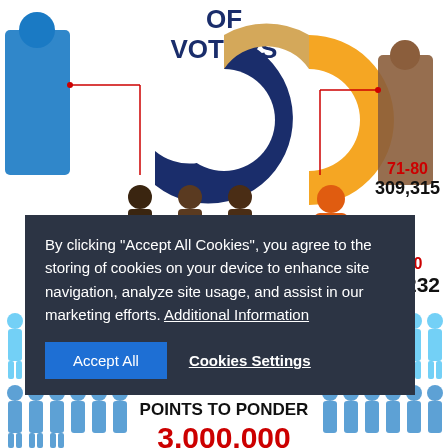OF VOTERS
[Figure (donut-chart): Donut chart showing voter age distribution percentages 19% and 18% visible]
26-40
1,013,270
41-50
871,272
51-60
826,760
61-70
611,232
71-80
309,315
By clicking "Accept All Cookies", you agree to the storing of cookies on your device to enhance site navigation, analyze site usage, and assist in our marketing efforts. Additional Information
Accept All
Cookies Settings
POINTS TO PONDER
3,000,000